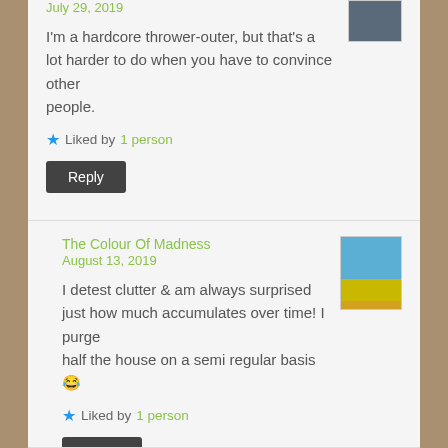July 29, 2019
I'm a hardcore thrower-outer, but that's a lot harder to do when you have to convince other people.
★ Liked by 1 person
Reply
The Colour Of Madness
August 13, 2019
I detest clutter & am always surprised just how much accumulates over time! I purge half the house on a semi regular basis 😂
★ Liked by 1 person
Reply